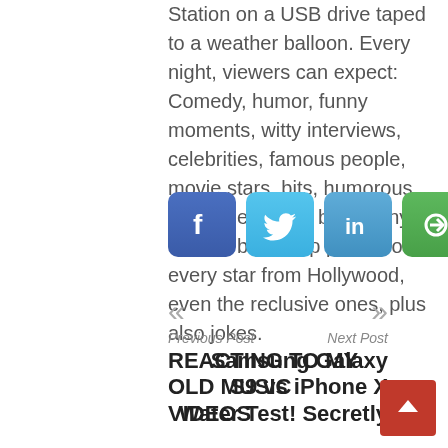Station on a USB drive taped to a weather balloon. Every night, viewers can expect: Comedy, humor, funny moments, witty interviews, celebrities, famous people, movie stars, bits, humorous celebrities doing bits, funny celebs, big group photos of every star from Hollywood, even the reclusive ones, plus also jokes.
[Figure (infographic): Social sharing buttons: Facebook, Twitter, LinkedIn, and a share/link icon (green)]
« Previous Post
REACTING TO MY OLD MUSIC VIDEOS
» Next Post
Samsung Galaxy S9 vs iPhone X Water Test! Secretly